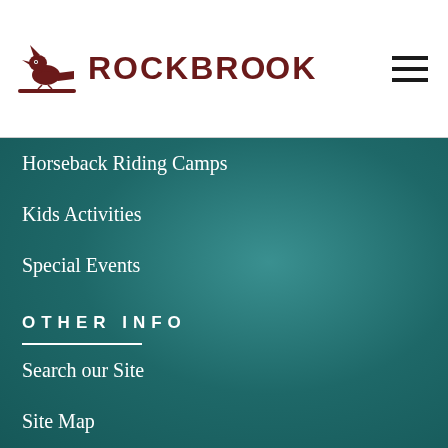ROCKBROOK
Horseback Riding Camps
Kids Activities
Special Events
OTHER INFO
Search our Site
Site Map
Subscribe
Resources